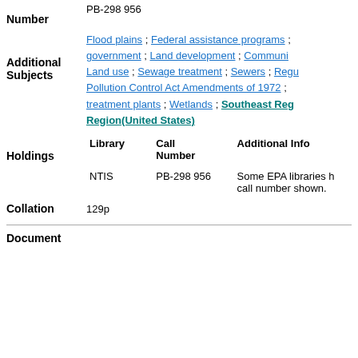PB-298 956
Number
Additional Subjects: Flood plains ; Federal assistance programs ; government ; Land development ; Community Land use ; Sewage treatment ; Sewers ; Regu Pollution Control Act Amendments of 1972 ; treatment plants ; Wetlands ; Southeast Region(United States)
| Library | Call Number | Additional Info |
| --- | --- | --- |
| NTIS | PB-298 956 | Some EPA libraries h call number shown. |
Holdings
Collation 129p
Document